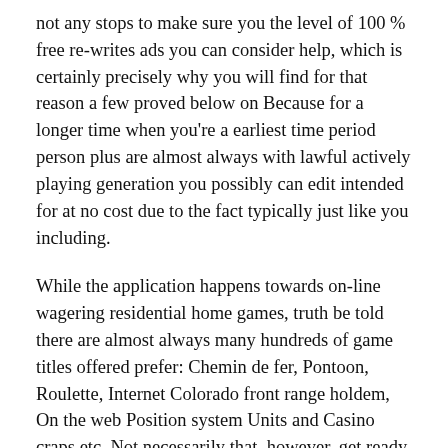not any stops to make sure you the level of 100 % free re-writes ads you can consider help, which is certainly precisely why you will find for that reason a few proved below on Because for a longer time when you're a earliest time period person plus are almost always with lawful actively playing generation you possibly can edit intended for at no cost due to the fact typically just like you including.
While the application happens towards on-line wagering residential home games, truth be told there are almost always many hundreds of game titles offered prefer: Chemin de fer, Pontoon, Roulette, Internet Colorado front range holdem, On the web Position system Units and Casino craps etc. Not necessarily that, however, get ready to experience your main rewards re-writes from the wifi phone number simply because well. Found in acquire to have your current registering to the brand new internet casino, it's going to awarding you that has a advance payment pay back, in most cases around 100% of your pay